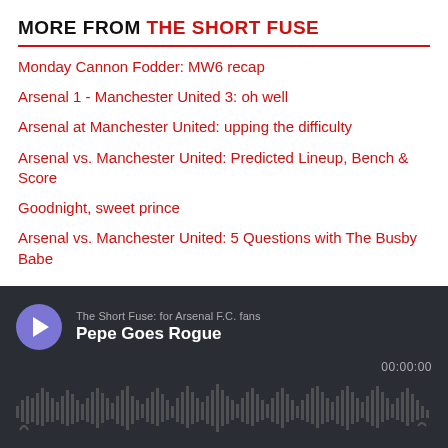MORE FROM THE SHORT FUSE
Monday Cannon Fodder: MW6 recap
Arsenal 1 - Manchester United 3: oh well
Arsenal at Manchester United: upping the difficulty
Arsenal vs. Manchester United: Predicted Lineup, Bench & Score
Goodnight, sweet prince
Arsenal vs. Manchester United: 5 Questions with The Busby Babe
[Figure (other): Podcast player widget showing 'The Short Fuse: for Arsenal F.C. fans' with episode 'Pepe Goes Rogue', dark background with waveform visualization and play button, time 00:00:00]